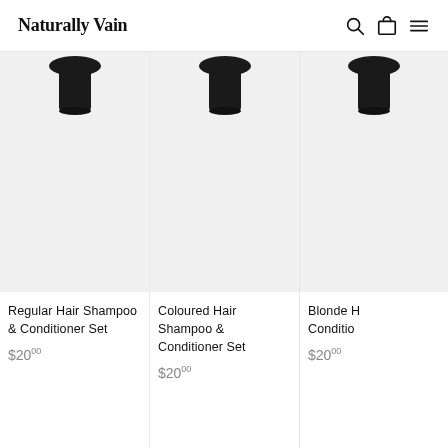Naturally Vain
[Figure (screenshot): Product image area for Regular Hair Shampoo & Conditioner Set - dark bottle tops visible at top]
Regular Hair Shampoo & Conditioner Set
$20.00
[Figure (screenshot): Product image area for Coloured Hair Shampoo & Conditioner Set - dark bottle tops visible at top]
Coloured Hair Shampoo & Conditioner Set
$20.00
[Figure (screenshot): Product image area for Blonde Hair Shampoo & Conditioner Set - partially cropped, dark bottle tops visible at top]
Blonde H... Conditio...
$20.00